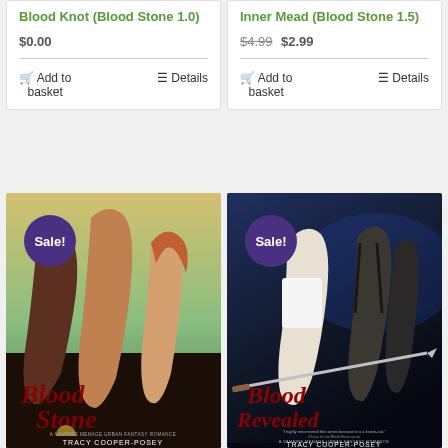Blood Knot (Blood Stone 1.0)
$0.00
Add to basket
Details
Inner Mead (Blood Stone 1.5)
$4.99  $2.99
Add to basket
Details
[Figure (photo): Book cover for 'Blood Stone' by Tracy Cooper-Posey with Sale! badge. Shows three figures (two shirtless men and a woman) on a dramatic background. Script title 'Blood Stone' at the bottom.]
[Figure (photo): Book cover for 'Blood Revealed' by Tracy Cooper-Posey with Sale! badge. Shows three figures on a dark blue background with a dagger. Script title 'Blood Revealed' at the bottom.]